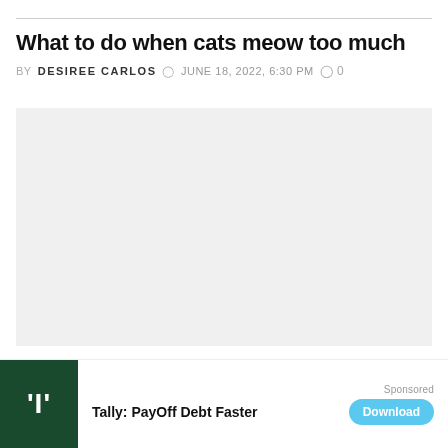What to do when cats meow too much
BY DESIREE CARLOS  ⏱ JUNE 18, 2022, 6:30 PM  💬 0
[Figure (photo): Article image placeholder (light gray background)]
Cats meow for several reasons and the reasons change from kittenhood to adulthood. When kittens are hungry, cold, or scared,...
Sponsored
Tally: PayOff Debt Faster  Download